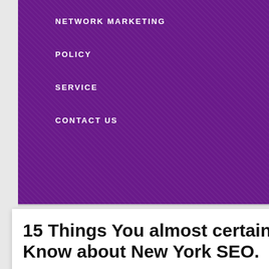NETWORK MARKETING
POLICY
SERVICE
CONTACT US
15 Things You almost certainly Did not Know about New York SEO.
November 30, 2019   Evelyn Dale
SOCIAL ICON